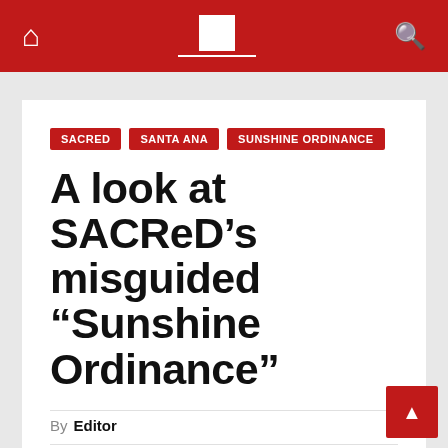Navigation bar with home icon, site logo, and search icon
SACRED
SANTA ANA
SUNSHINE ORDINANCE
A look at SACReD's misguided “Sunshine Ordinance”
By Editor
SEP 19, 2012   Development, planning, sacred, ...